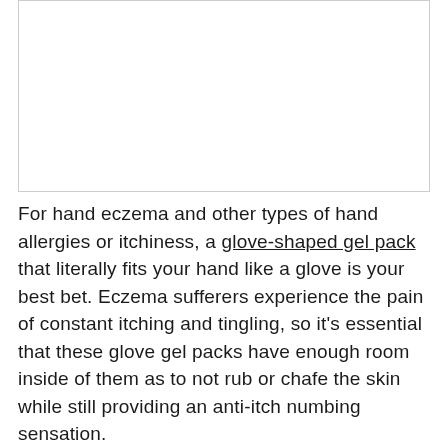[Figure (photo): Image placeholder area at top of page, white/blank rectangular space with border]
For hand eczema and other types of hand allergies or itchiness, a glove-shaped gel pack that literally fits your hand like a glove is your best bet. Eczema sufferers experience the pain of constant itching and tingling, so it's essential that these glove gel packs have enough room inside of them as to not rub or chafe the skin while still providing an anti-itch numbing sensation.